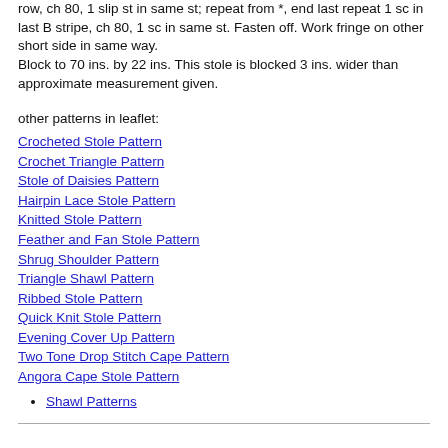row, ch 80, 1 slip st in same st; repeat from *, end last repeat 1 sc in last B stripe, ch 80, 1 sc in same st. Fasten off. Work fringe on other short side in same way.
Block to 70 ins. by 22 ins. This stole is blocked 3 ins. wider than approximate measurement given.
other patterns in leaflet:
Crocheted Stole Pattern
Crochet Triangle Pattern
Stole of Daisies Pattern
Hairpin Lace Stole Pattern
Knitted Stole Pattern
Feather and Fan Stole Pattern
Shrug Shoulder Pattern
Triangle Shawl Pattern
Ribbed Stole Pattern
Quick Knit Stole Pattern
Evening Cover Up Pattern
Two Tone Drop Stitch Cape Pattern
Angora Cape Stole Pattern
Shawl Patterns